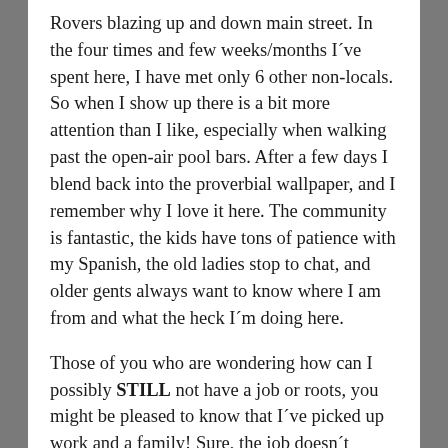Rovers blazing up and down main street. In the four times and few weeks/months I´ve spent here, I have met only 6 other non-locals. So when I show up there is a bit more attention than I like, especially when walking past the open-air pool bars. After a few days I blend back into the proverbial wallpaper, and I remember why I love it here. The community is fantastic, the kids have tons of patience with my Spanish, the old ladies stop to chat, and older gents always want to know where I am from and what the heck I´m doing here.
Those of you who are wondering how can I possibly STILL not have a job or roots, you might be pleased to know that I´ve picked up work and a family! Sure, the job doesn´t